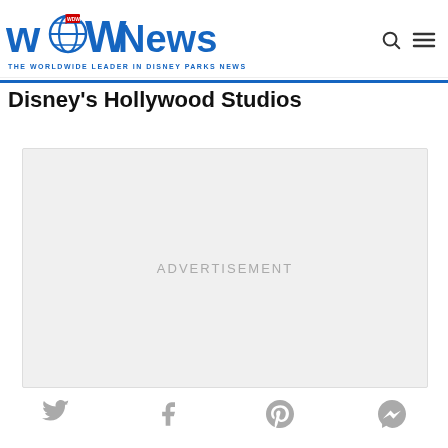WDW News Today – THE WORLDWIDE LEADER IN DISNEY PARKS NEWS
Disney's Hollywood Studios
[Figure (other): Advertisement placeholder box with light gray background and centered 'ADVERTISEMENT' text]
[Figure (other): Social sharing icons row: Twitter, Facebook, Pinterest, Messenger]